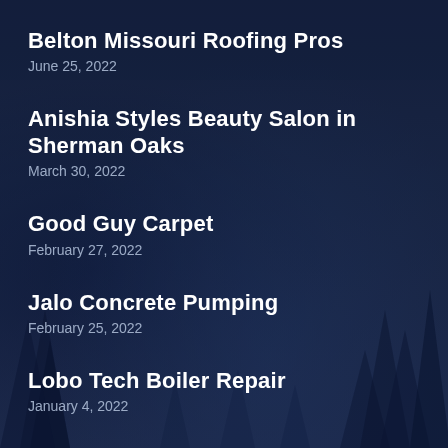Belton Missouri Roofing Pros
June 25, 2022
Anishia Styles Beauty Salon in Sherman Oaks
March 30, 2022
Good Guy Carpet
February 27, 2022
Jalo Concrete Pumping
February 25, 2022
Lobo Tech Boiler Repair
January 4, 2022
Milos Movers (truncated/partial)